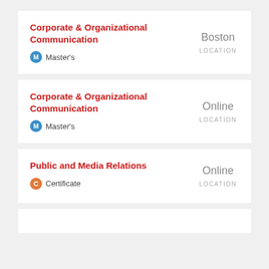Corporate & Organizational Communication
Master's
Boston
LOCATION
Corporate & Organizational Communication
Master's
Online
LOCATION
Public and Media Relations
Certificate
Online
LOCATION